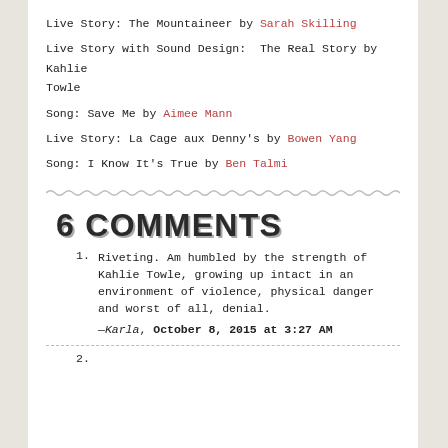Live Story: The Mountaineer by Sarah Skilling
Live Story with Sound Design:  The Real Story by Kahlie Towle
Song: Save Me by Aimee Mann
Live Story: La Cage aux Denny's by Bowen Yang
Song: I Know It's True by Ben Talmi
6 COMMENTS
Riveting. Am humbled by the strength of Kahlie Towle, growing up intact in an environment of violence, physical danger and worst of all, denial.
— Karla, October 8, 2015 at 3:27 AM